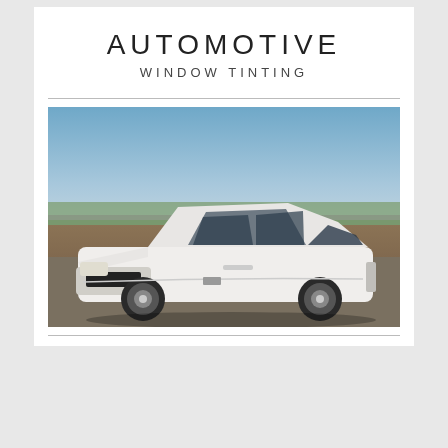AUTOMOTIVE
WINDOW TINTING
[Figure (photo): White Ford Mustang GT parked on a paved lot with trees and blue sky in background, photographed from front-left angle]